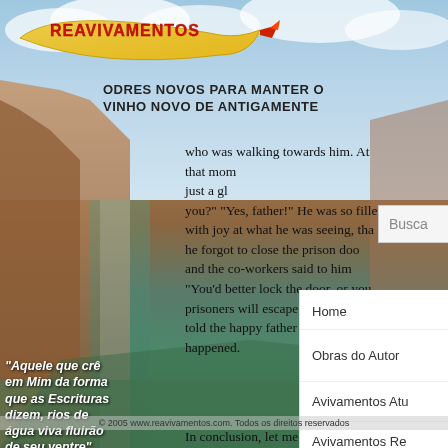[Figure (logo): Reavivamentos logo - yellow/flame shaped banner with red text REAVIVAMENTOS and a bird/fish motif, over a cloudy sky background image]
ODRES NOVOS PARA MANTER O VINHO NOVO DE ANTIGAMENTE
who was walking towards him. At that mom... just a gl... you?" "Yes, father!" He was so filled with joy at what he was seeing, that he forgot to close the prison door and the co-workers said to him "You'd better lock the door, or you prisoners will escape!" Then the told the happy father what ha happened.
In conclusion, let me bear witness that the fact that there is no greater power man that of our Lord Jesus Christ. It was no lie when He said that all power in heaven and on earth was given unto Him. That is why He called out to His disciples before His ascension into heaven... What happened then? Some worshipped Him, but other
[Figure (screenshot): Search bar with placeholder text Busca and magnifying glass icon]
Home
Obras do Autor
Avivamentos Atu...
Avivamentos Re...
Avivamentos An...
Bibliotecas
"Aquele que crê em Mim da forma que as Escrituras dizem, rios de água viva fluirão de seu ventre" João 7:38
© 2005 www.reavivamentos.com. Todos os direitos reservados